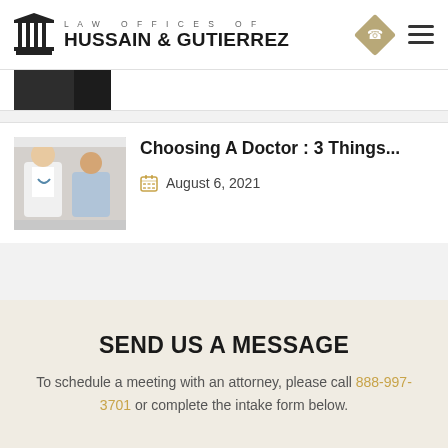LAW OFFICES OF HUSSAIN & GUTIERREZ
[Figure (photo): Partial image of a person, cut off at top of card]
[Figure (photo): Doctor consulting with elderly patient in a clinic setting]
Choosing A Doctor : 3 Things...
August 6, 2021
SEND US A MESSAGE
To schedule a meeting with an attorney, please call 888-997-3701 or complete the intake form below.